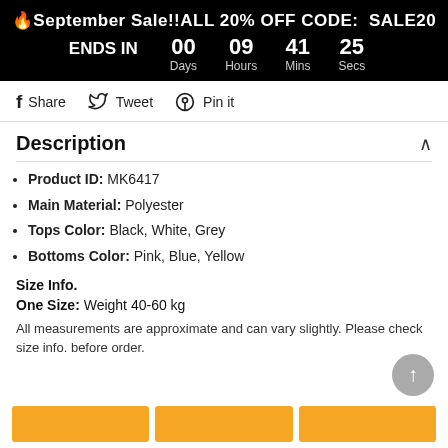🔥September Sale!!ALL 20% OFF CODE: SALE20 ENDS IN 00 Days 09 Hours 41 Mins 25 Secs
Share  Tweet  Pin it
Description
Product ID: MK6417
Main Material: Polyester
Tops Color: Black, White, Grey
Bottoms Color: Pink, Blue, Yellow
Size Info.
One Size: Weight 40-60 kg
All measurements are approximate and can vary slightly. Please check size info. before order.